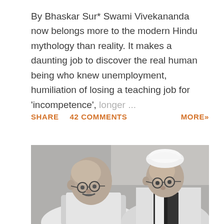By Bhaskar Sur* Swami Vivekananda now belongs more to the modern Hindu mythology than reality. It makes a daunting job to discover the real human being who knew unemployment, humiliation of losing a teaching job for 'incompetence', longer ...
SHARE   42 COMMENTS   MORE»
[Figure (photo): Black and white photograph of two men in conversation. On the left is an elderly bald man with round glasses and a mustache wearing white clothing (resembling Mahatma Gandhi). On the right is a younger man wearing a white cap and round glasses, wearing a suit with a tie.]